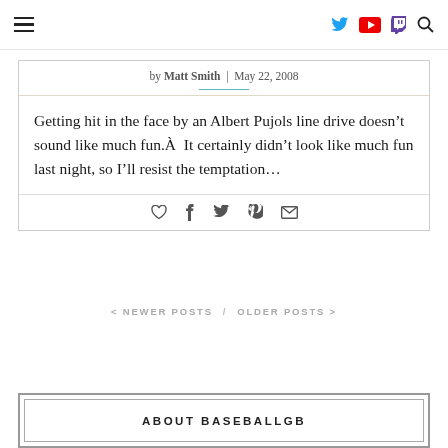Navigation bar with hamburger menu, Twitter, YouTube, Twitch icons, and search
by Matt Smith | May 22, 2008
Getting hit in the face by an Albert Pujols line drive doesn't sound like much fun.Â  It certainly didn't look like much fun last night, so I'll resist the temptation...
Pagination: < NEWER POSTS / OLDER POSTS >
ABOUT BASEBALLGB